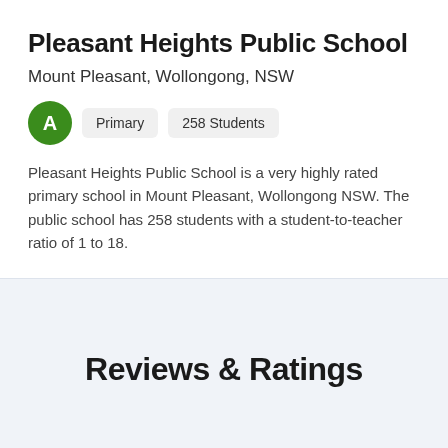Pleasant Heights Public School
Mount Pleasant, Wollongong, NSW
A  Primary  258 Students
Pleasant Heights Public School is a very highly rated primary school in Mount Pleasant, Wollongong NSW. The public school has 258 students with a student-to-teacher ratio of 1 to 18.
Reviews & Ratings
Parents, students, alumni, staff are encouraged to leave a review of their personal experience as a member of